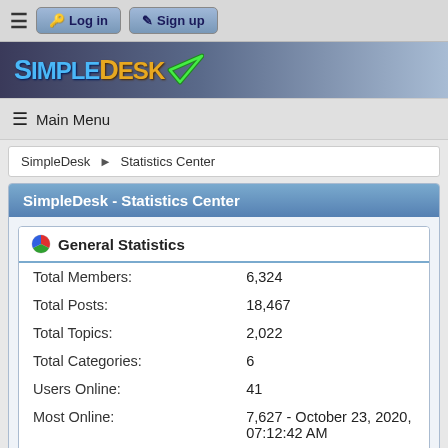≡  Log in   ✎ Sign up
[Figure (logo): SimpleDesk logo with green checkmark on dark background]
≡ Main Menu
SimpleDesk ▶ Statistics Center
SimpleDesk - Statistics Center
|  |  |
| --- | --- |
| Total Members: | 6,324 |
| Total Posts: | 18,467 |
| Total Topics: | 2,022 |
| Total Categories: | 6 |
| Users Online: | 41 |
| Most Online: | 7,627 - October 23, 2020, 07:12:42 AM |
| Online today: | 43 |